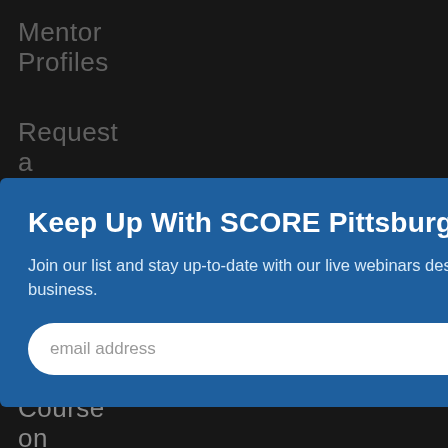Mentor Profiles
Request a Mentor
Find a
[Figure (screenshot): Modal popup dialog for SCORE Pittsburgh email signup with title 'Keep Up With SCORE Pittsburgh', descriptive text, email input field, and SUBMIT button on a dark background navigation page.]
Webinars
Course on Demand